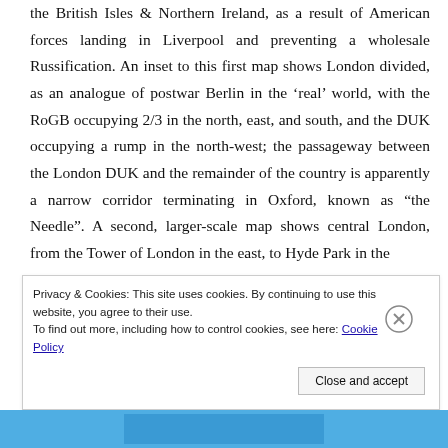the British Isles & Northern Ireland, as a result of American forces landing in Liverpool and preventing a wholesale Russification. An inset to this first map shows London divided, as an analogue of postwar Berlin in the 'real' world, with the RoGB occupying 2/3 in the north, east, and south, and the DUK occupying a rump in the north-west; the passageway between the London DUK and the remainder of the country is apparently a narrow corridor terminating in Oxford, known as “the Needle”. A second, larger-scale map shows central London, from the Tower of London in the east, to Hyde Park in the
Privacy & Cookies: This site uses cookies. By continuing to use this website, you agree to their use. To find out more, including how to control cookies, see here: Cookie Policy
Close and accept